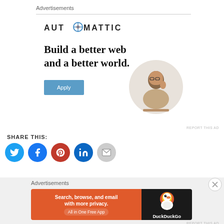Advertisements
[Figure (infographic): Automattic advertisement: 'Build a better web and a better world.' with an Apply button and a circular photo of a man thinking at a desk]
REPORT THIS AD
SHARE THIS:
[Figure (infographic): Social share icons: Twitter (blue), Facebook (blue), Pinterest (red), LinkedIn (blue), Email (grey)]
Advertisements
[Figure (infographic): DuckDuckGo advertisement: 'Search, browse, and email with more privacy. All in One Free App' on orange background with DuckDuckGo logo on dark background]
REPORT THIS AD